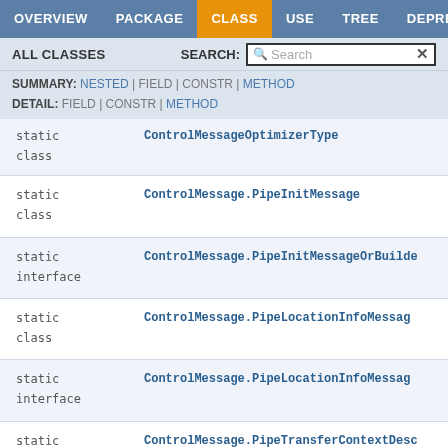OVERVIEW | PACKAGE | CLASS | USE | TREE | DEPRECATED
ALL CLASSES   SEARCH:
SUMMARY: NESTED | FIELD | CONSTR | METHOD
DETAIL: FIELD | CONSTR | METHOD
| Modifier | Class/Interface |
| --- | --- |
| static class | ControlMessageOptimizerType (truncated) |
| static class | ControlMessage.PipeInitMessage |
| static interface | ControlMessage.PipeInitMessageOrBuilder (truncated) |
| static class | ControlMessage.PipeLocationInfoMessage (truncated) |
| static interface | ControlMessage.PipeLocationInfoMessage (truncated) |
| static class | ControlMessage.PipeTransferContextDesc (truncated) |
| static interface | ControlMessage.PipeTransferContextDesc (truncated) |